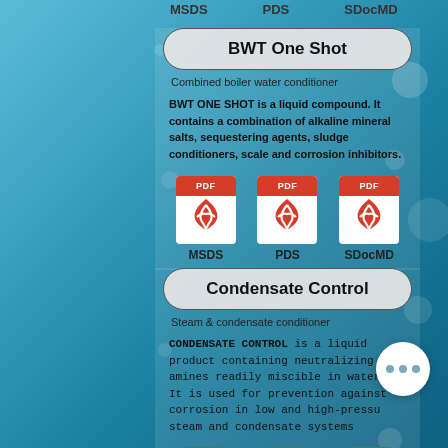MSDS   PDS   SDocMD
BWT One Shot
Combined boiler water conditioner
BWT ONE SHOT is a liquid compound. It contains a combination of alkaline mineral salts, sequestering agents, sludge conditioners, scale and corrosion inhibitors.
[Figure (other): Three PDF icons labeled MSDS, PDS, SDocMD for BWT One Shot product]
Condensate Control
Steam & condensate conditioner
CONDENSATE CONTROL is a liquid product containing neutralizing amines readily miscible in water. It is used for prevention against corrosion in low and high-pressure steam and condensate systems
[Figure (other): Three PDF buttons (PDF, PDF, PDF) at bottom for Condensate Control product]